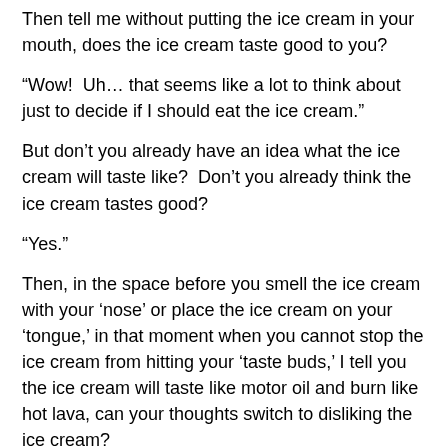Then tell me without putting the ice cream in your mouth, does the ice cream taste good to you?
“Wow!  Uh… that seems like a lot to think about just to decide if I should eat the ice cream.”
But don’t you already have an idea what the ice cream will taste like?  Don’t you already think the ice cream tastes good?
“Yes.”
Then, in the space before you smell the ice cream with your ‘nose’ or place the ice cream on your ‘tongue,’ in that moment when you cannot stop the ice cream from hitting your ‘taste buds,’ I tell you the ice cream will taste like motor oil and burn like hot lava, can your thoughts switch to disliking the ice cream?